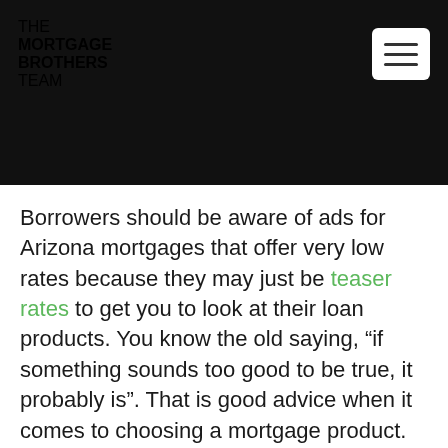THE MORTGAGE BROTHERS TEAM
Borrowers should be aware of ads for Arizona mortgages that offer very low rates because they may just be teaser rates to get you to look at their loan products. You know the old saying, “if something sounds too good to be true, it probably is”. That is good advice when it comes to choosing a mortgage product. In fact, many banks advertise their best prime rates, but those are not the ones that you may end up with. It is nearly impossible for banks to advertise a set fixed Arizona mortgage rate for all Arizona borrowers because rates depend on your creditor score, credit history, the type of property you are